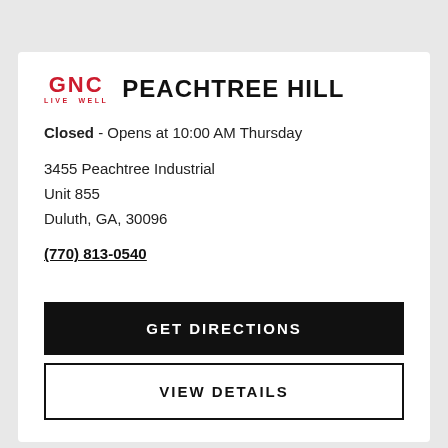[Figure (logo): GNC Live Well logo in red]
PEACHTREE HILL
Closed - Opens at 10:00 AM Thursday
3455 Peachtree Industrial
Unit 855
Duluth, GA, 30096
(770) 813-0540
GET DIRECTIONS
VIEW DETAILS